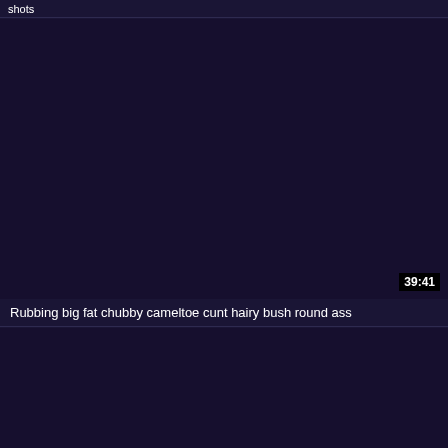shots
[Figure (screenshot): Dark navy/purple video thumbnail placeholder with timestamp 39:41 in bottom right corner]
Rubbing big fat chubby cameltoe cunt hairy bush round ass
[Figure (screenshot): Dark navy/purple video thumbnail placeholder, second item]